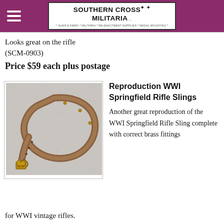Southern Cross Militaria
Looks great on the rifle
(SCM-0903)
Price $59 each plus postage
[Figure (photo): Photo of a brown leather WWI Springfield rifle sling with brass fittings, coiled on a grey speckled surface.]
Reproduction WWI Springfield Rifle Slings
Another great reproduction of the WWI Springfield Rifle Sling complete with correct brass fittings
for WWI vintage rifles.